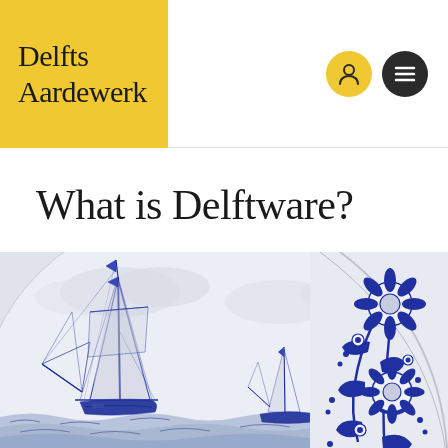Delfts Aardewerk
What is Delftware?
[Figure (photo): Close-up photograph of a Delftware ceramic plate with blue and white decoration. The left side shows a detailed sailing scene with tall-masted ships on rough seas. The right side shows the decorative border of another plate with blue floral motifs including sunflowers and leaves on a white background.]